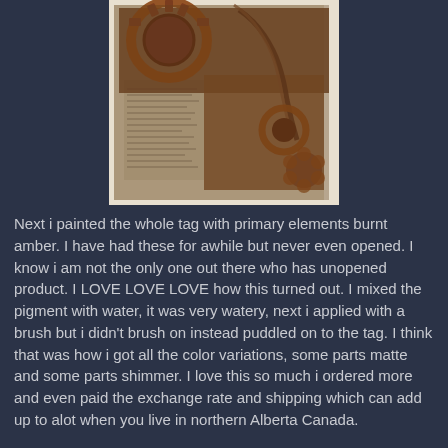[Figure (photo): A steampunk-style art tag with copper/bronze gears, chains, and decorative elements mounted on a background with text/newsprint, painted with burnt amber pigment showing color variations from matte to shimmer]
Next i painted the whole tag with primary elements burnt amber.  I have had these for awhile but never even opened.  I know i am not the only one out there who has unopened product.  I LOVE LOVE LOVE how this turned out.  I mixed the pigment with water, it was very watery, next i applied with a brush but i didn't brush on instead puddled on to the tag.  I think that was how i got all the color variations, some parts matte and some parts shimmer.  I love this so much i ordered more and even paid the exchange rate and shipping which can add up to alot when you live in northern Alberta Canada.
The black shadowing on the harlequin pattern and around